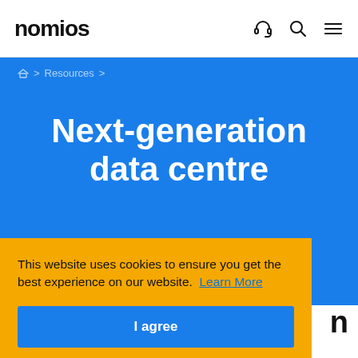nomios
🏠 > Resources >
Next-generation data centre
This website uses cookies to ensure you get the best experience on our website. Learn More
I agree